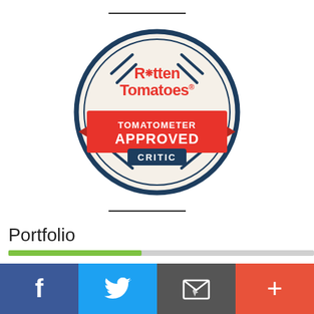[Figure (logo): Rotten Tomatoes Tomatometer Approved Critic badge — circular badge with cream/off-white background and dark blue border, red ribbon banner reading TOMATOMETER APPROVED, dark blue label CRITIC at bottom, Rotten Tomatoes logo in red at top center]
Portfolio
[Figure (infographic): Social sharing bar with four buttons: Facebook (dark blue, f icon), Twitter (light blue, bird icon), Email (dark grey, envelope icon), More (orange-red, plus icon)]